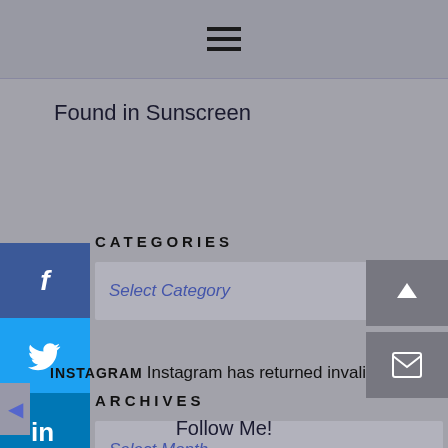[Figure (screenshot): Hamburger menu icon (three horizontal lines) in top navigation bar]
Found in Sunscreen
CATEGORIES
[Figure (screenshot): Select Category dropdown box with chevron]
ARCHIVES
[Figure (screenshot): Select Month dropdown box with chevron]
[Figure (screenshot): Social media sharing sidebar with Facebook, Twitter, LinkedIn, Pinterest, Reddit, and Mix buttons]
INSTAGRAM Instagram has returned invalid data.
Follow Me!